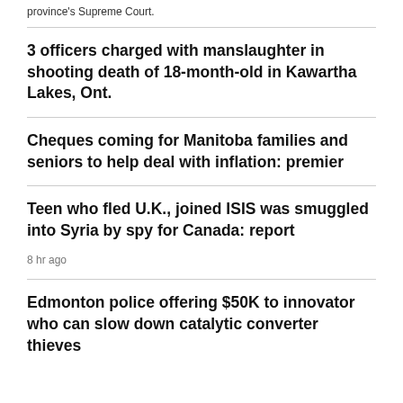province's Supreme Court.
3 officers charged with manslaughter in shooting death of 18-month-old in Kawartha Lakes, Ont.
Cheques coming for Manitoba families and seniors to help deal with inflation: premier
Teen who fled U.K., joined ISIS was smuggled into Syria by spy for Canada: report
8 hr ago
Edmonton police offering $50K to innovator who can slow down catalytic converter thieves